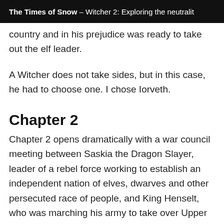The Times of Snow – Witcher 2: Exploring the neutralit…
country and in his prejudice was ready to take out the elf leader.
A Witcher does not take sides, but in this case, he had to choose one. I chose Iorveth.
Chapter 2
Chapter 2 opens dramatically with a war council meeting between Saskia the Dragon Slayer, leader of a rebel force working to establish an independent nation of elves, dwarves and other persecuted race of people, and King Henselt, who was marching his army to take over Upper Aedirn. This meeting ends with a curse unleashed upon the battlefield dividing the two sides by…